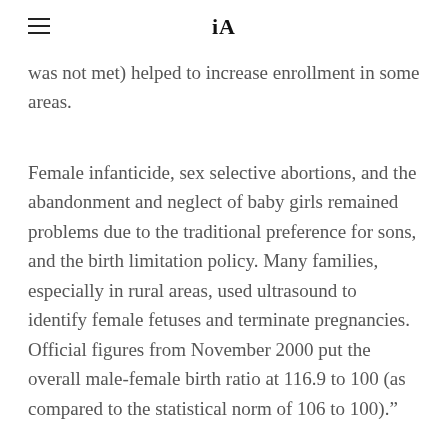iA
was not met) helped to increase enrollment in some areas.
Female infanticide, sex selective abortions, and the abandonment and neglect of baby girls remained problems due to the traditional preference for sons, and the birth limitation policy. Many families, especially in rural areas, used ultrasound to identify female fetuses and terminate pregnancies. Official figures from November 2000 put the overall male-female birth ratio at 116.9 to 100 (as compared to the statistical norm of 106 to 100)."